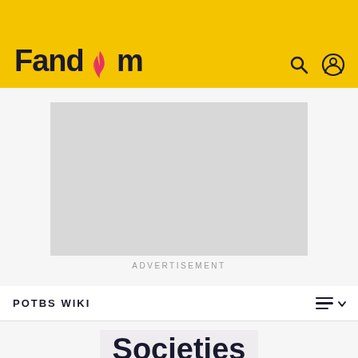Fandom
[Figure (screenshot): Advertisement placeholder (grey rectangle)]
ADVERTISEMENT
POTBS WIKI
Societies
EDIT